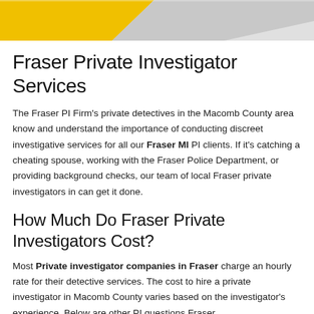[Figure (photo): Partial view of a yellow and grey background, decorative banner image at top of page]
Fraser Private Investigator Services
The Fraser PI Firm's private detectives in the Macomb County area know and understand the importance of conducting discreet investigative services for all our Fraser MI PI clients. If it's catching a cheating spouse, working with the Fraser Police Department, or providing background checks, our team of local Fraser private investigators in can get it done.
How Much Do Fraser Private Investigators Cost?
Most Private investigator companies in Fraser charge an hourly rate for their detective services. The cost to hire a private investigator in Macomb County varies based on the investigator's experience. Below are other PI questions Fraser